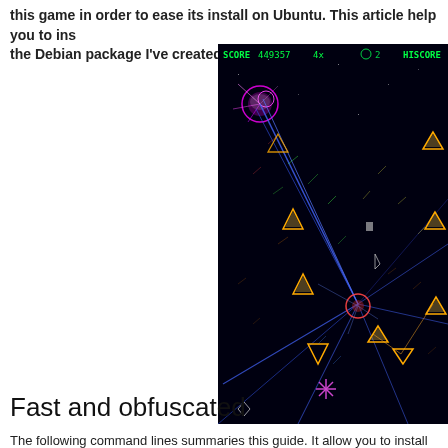this game in order to ease its install on Ubuntu. This article help you to install the Debian package I've created.
[Figure (screenshot): Screenshot of a top-down space shooter game (Grid Wars) with dark/black background, colorful neon shapes including triangles, circles, lines, and particle effects. HUD shows SCORE, level multiplier 4x, lives indicator, and HISCORE text in green/yellow.]
Fast and obfuscated
The following command lines summaries this guide. It allow you to install Grid W... First, setup your sudo environment :
sudo echo